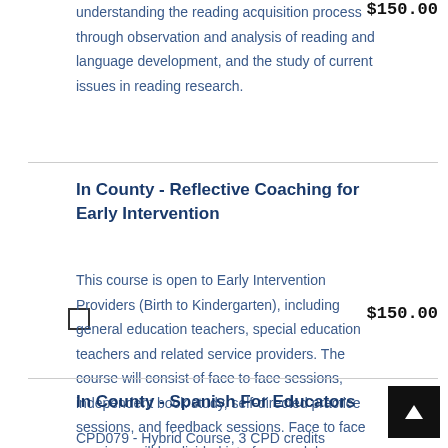understanding the reading acquisition process through observation and analysis of reading and language development, and the study of current issues in reading research.
$150.00
In County - Reflective Coaching for Early Intervention
This course is open to Early Intervention Providers (Birth to Kindergarten), including general education teachers, special education teachers and related service providers. The course will consist of face to face sessions, independent book study, self-directed practice sessions, and feedback sessions. Face to face sessions will be divided into four modules.
$150.00
In County - Spanish For Educators
CPD079 - Hybrid Course, 3 CPD credits